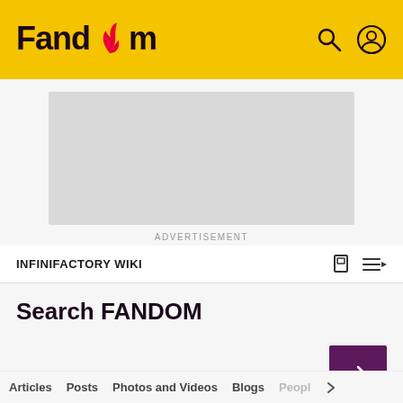Fandom
[Figure (other): Advertisement placeholder rectangle (grey box)]
ADVERTISEMENT
INFINIFACTORY WIKI
Search FANDOM
ADVANCED
Articles  Posts  Photos and Videos  Blogs  Peopl